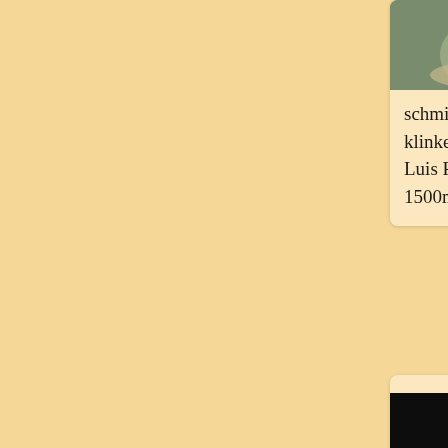[Figure (photo): Partial view of a cactus plant in a pot, showing grey-green ribbed body with spines and gravel substrate, photographed from above at an angle]
schmiedickeanus klinkerianus RSM Luis Potosi, Cha 1500m
[Figure (photo): Cactus plant with long white spines and small white flowers blooming, photographed against a black background in a container with gravel]
schmiedickeanus klinkerianus 'pac 1782